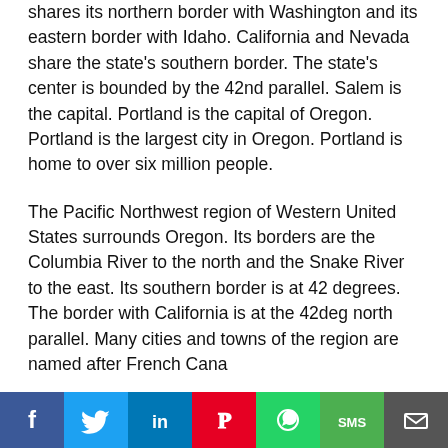shares its northern border with Washington and its eastern border with Idaho. California and Nevada share the state's southern border. The state's center is bounded by the 42nd parallel. Salem is the capital. Portland is the capital of Oregon. Portland is the largest city in Oregon. Portland is home to over six million people.
The Pacific Northwest region of Western United States surrounds Oregon. Its borders are the Columbia River to the north and the Snake River to the east. Its southern border is at 42 degrees. The border with California is at the 42deg north parallel. Many cities and towns of the region are named after French Canadians. Portland is a popular destination…